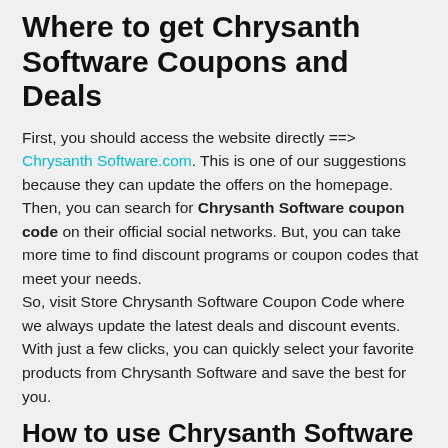Where to get Chrysanth Software Coupons and Deals
First, you should access the website directly ==> Chrysanth Software.com. This is one of our suggestions because they can update the offers on the homepage. Then, you can search for Chrysanth Software coupon code on their official social networks. But, you can take more time to find discount programs or coupon codes that meet your needs.
So, visit Store Chrysanth Software Coupon Code where we always update the latest deals and discount events. With just a few clicks, you can quickly select your favorite products from Chrysanth Software and save the best for you.
How to use Chrysanth Software